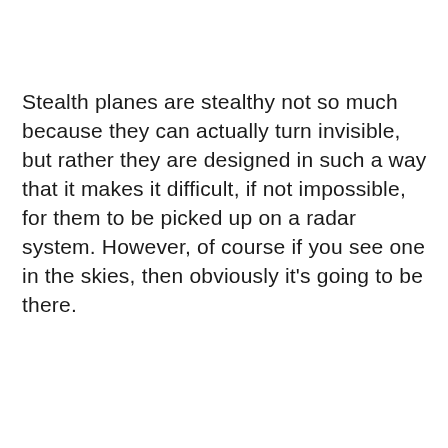Stealth planes are stealthy not so much because they can actually turn invisible, but rather they are designed in such a way that it makes it difficult, if not impossible, for them to be picked up on a radar system. However, of course if you see one in the skies, then obviously it's going to be there.